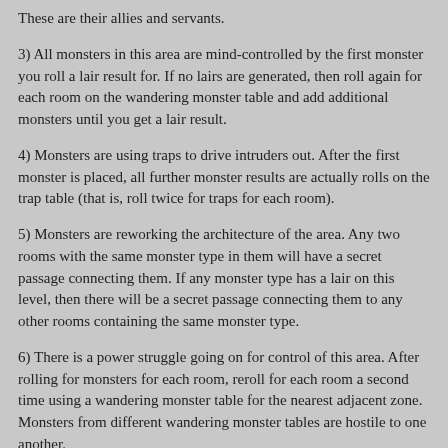These are their allies and servants.
3) All monsters in this area are mind-controlled by the first monster you roll a lair result for. If no lairs are generated, then roll again for each room on the wandering monster table and add additional monsters until you get a lair result.
4) Monsters are using traps to drive intruders out. After the first monster is placed, all further monster results are actually rolls on the trap table (that is, roll twice for traps for each room).
5) Monsters are reworking the architecture of the area. Any two rooms with the same monster type in them will have a secret passage connecting them. If any monster type has a lair on this level, then there will be a secret passage connecting them to any other rooms containing the same monster type.
6) There is a power struggle going on for control of this area. After rolling for monsters for each room, reroll for each room a second time using a wandering monster table for the nearest adjacent zone. Monsters from different wandering monster tables are hostile to one another.